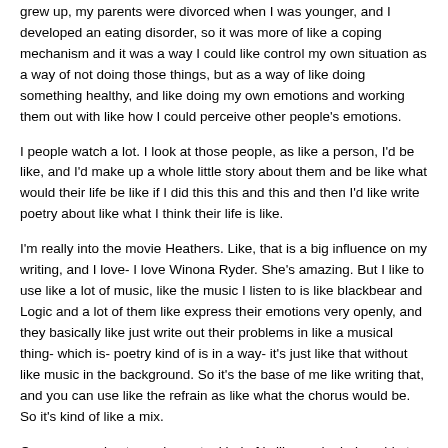grew up, my parents were divorced when I was younger, and I developed an eating disorder, so it was more of like a coping mechanism and it was a way I could like control my own situation as a way of not doing those things, but as a way of like doing something healthy, and like doing my own emotions and working them out with like how I could perceive other people's emotions.
I people watch a lot. I look at those people, as like a person, I'd be like, and I'd make up a whole little story about them and be like what would their life be like if I did this this and this and then I'd like write poetry about like what I think their life is like.
I'm really into the movie Heathers. Like, that is a big influence on my writing, and I love- I love Winona Ryder. She's amazing. But I like to use like a lot of music, like the music I listen to is like blackbear and Logic and a lot of them like express their emotions very openly, and they basically like just write out their problems in like a musical thing- which is- poetry kind of is in a way- it's just like that without like music in the background. So it's the base of me like writing that, and you can use like the refrain as like what the chorus would be. So it's kind of like a mix.
Open expression to me in poetry kind of is like you're being able to